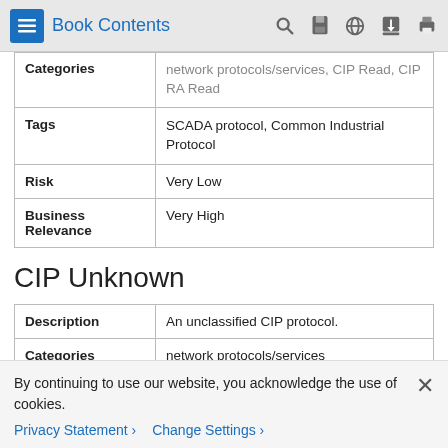Book Contents
| Categories | network protocols/services, CIP Read, CIP RA Read |
| Tags | SCADA protocol, Common Industrial Protocol |
| Risk | Very Low |
| Business Relevance | Very High |
CIP Unknown
| Description | An unclassified CIP protocol. |
| Categories | network protocols/services |
By continuing to use our website, you acknowledge the use of cookies.
Privacy Statement > Change Settings >